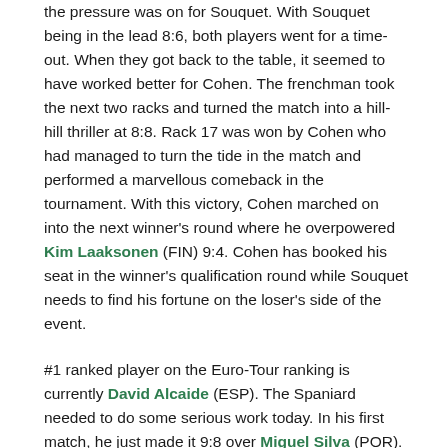the pressure was on for Souquet. With Souquet being in the lead 8:6, both players went for a time-out. When they got back to the table, it seemed to have worked better for Cohen. The frenchman took the next two racks and turned the match into a hill-hill thriller at 8:8. Rack 17 was won by Cohen who had managed to turn the tide in the match and performed a marvellous comeback in the tournament. With this victory, Cohen marched on into the next winner's round where he overpowered Kim Laaksonen (FIN) 9:4. Cohen has booked his seat in the winner's qualification round while Souquet needs to find his fortune on the loser's side of the event.
#1 ranked player on the Euro-Tour ranking is currently David Alcaide (ESP). The Spaniard needed to do some serious work today. In his first match, he just made it 9:8 over Miguel Silva (POR). The next round was not easier for the #1 player. He encountered Abdullah Al-Youssef (KUW) and needed another 9:8 victory over the full distance to get his foot in the